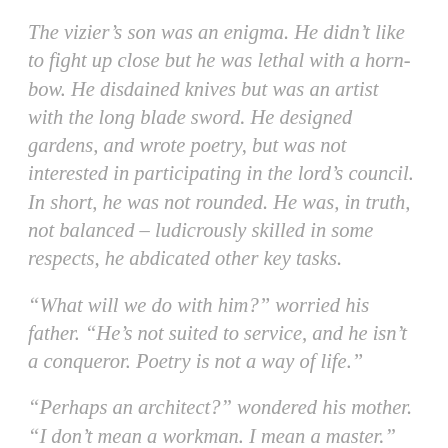The vizier's son was an enigma. He didn't like to fight up close but he was lethal with a horn-bow. He disdained knives but was an artist with the long blade sword. He designed gardens, and wrote poetry, but was not interested in participating in the lord's council. In short, he was not rounded. He was, in truth, not balanced – ludicrously skilled in some respects, he abdicated other key tasks.
“What will we do with him?” worried his father. “He’s not suited to service, and he isn’t a conqueror. Poetry is not a way of life.”
“Perhaps an architect?” wondered his mother. “I don’t mean a workman. I mean a master.”
“Does he draw?” asked his father, gloomily.